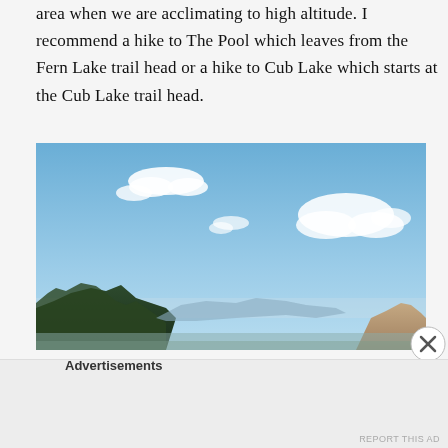area when we are acclimating to high altitude. I recommend a hike to The Pool which leaves from the Fern Lake trail head or a hike to Cub Lake which starts at the Cub Lake trail head.
[Figure (photo): Outdoor landscape photo showing a blue sky with scattered white clouds above mountain ridgelines with trees in the foreground and distant mountains and a valley in the background.]
Advertisements